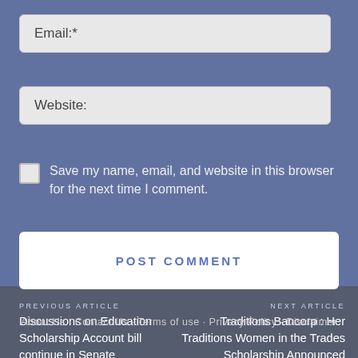Email:*
Website:
Save my name, email, and website in this browser for the next time I comment.
POST COMMENT
PREVIOUS ARTICLE
Discussions on Education Scholarship Account bill continue in Senate committee
NEXT ARTICLE
Traditions Bancorp : Her Traditions Women in the Trades Scholarship Announced
About Us · Contact Us · Terms of use · Privacy Policy · Disclaimer